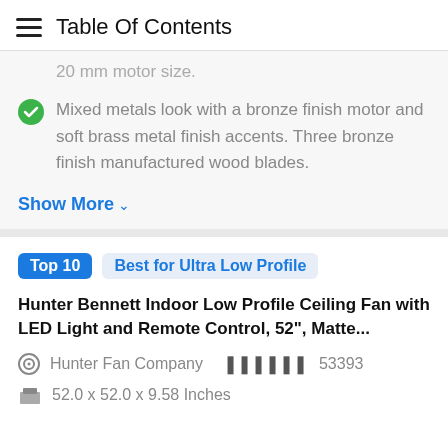Table Of Contents
20 mm motor size.
Mixed metals look with a bronze finish motor and soft brass metal finish accents. Three bronze finish manufactured wood blades.
Show More
Top 10   Best for Ultra Low Profile
Hunter Bennett Indoor Low Profile Ceiling Fan with LED Light and Remote Control, 52", Matte...
Hunter Fan Company   53393
52.0 x 52.0 x 9.58 Inches